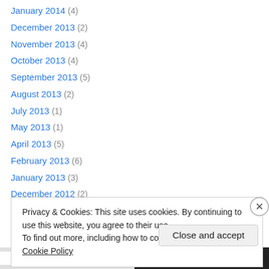January 2014 (4)
December 2013 (2)
November 2013 (4)
October 2013 (4)
September 2013 (5)
August 2013 (2)
July 2013 (1)
May 2013 (1)
April 2013 (5)
February 2013 (6)
January 2013 (3)
December 2012 (2)
November 2012 (4)
Privacy & Cookies: This site uses cookies. By continuing to use this website, you agree to their use. To find out more, including how to control cookies, see here: Cookie Policy
Close and accept